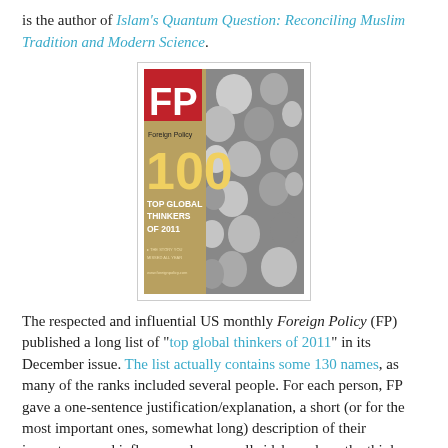is the author of Islam's Quantum Question: Reconciling Muslim Tradition and Modern Science.
[Figure (photo): Cover of Foreign Policy magazine showing '100 Top Global Thinkers of 2011' with collage of faces in black and white]
The respected and influential US monthly Foreign Policy (FP) published a long list of "top global thinkers of 2011" in its December issue. The list actually contains some 130 names, as many of the ranks included several people. For each person, FP gave a one-sentence justification/explanation, a short (or for the most important ones, somewhat long) description of their importance and influence, plus a small sidebar where the thinkers were